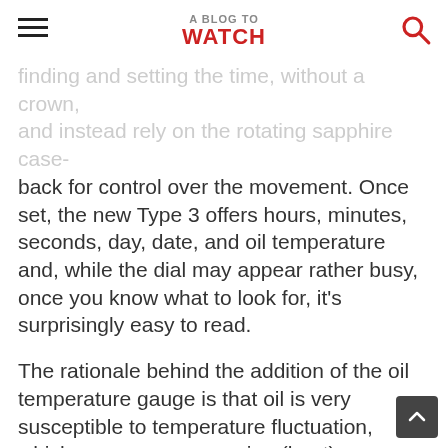A BLOG TO WATCH
finding and setting the time, without a crown, and instead rely on the rotating sapphire case-back for control over the movement. Once set, the new Type 3 offers hours, minutes, seconds, day, date, and oil temperature and, while the dial may appear rather busy, once you know what to look for, it's surprisingly easy to read.
The rationale behind the addition of the oil temperature gauge is that oil is very susceptible to temperature fluctuation, which can cause expansion (heat) or contraction (less heat). The Ressence Type 3 uses seven specialized bellows to facilitate the oil's reaction to external temperature. Now, for the new Ressence Type 3, Ressence added a mechanical thermal gauge to indicate the optimal running temperature for the oil. The 0.5 millimeter bi-metal spiral is mounted 0.1 mm under the discs to capture the slightest